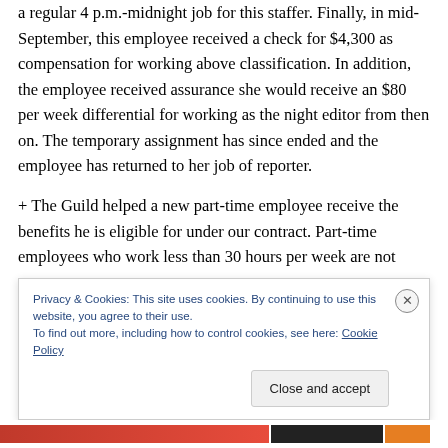a regular 4 p.m.-midnight job for this staffer. Finally, in mid-September, this employee received a check for $4,300 as compensation for working above classification. In addition, the employee received assurance she would receive an $80 per week differential for working as the night editor from then on. The temporary assignment has since ended and the employee has returned to her job of reporter.
+ The Guild helped a new part-time employee receive the benefits he is eligible for under our contract. Part-time employees who work less than 30 hours per week are not
Privacy & Cookies: This site uses cookies. By continuing to use this website, you agree to their use.
To find out more, including how to control cookies, see here: Cookie Policy
Close and accept